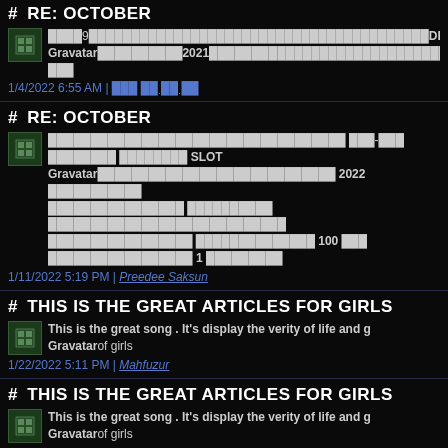# RE: OCTOBER
...9...DIY...Gravatar...2021......
1/4/2022 6:55 AM | ...
# RE: OCTOBER
... สล็อต-เว็บ ... SLOT...Gravatar... 2022 ... 100 ... 1 ...
1/11/2022 5:19 PM | Preedee Saksun
# THIS IS THE GREAT ARTICLES FOR GIRLS
This is the great song . It's display the verity of life and g... of girls
1/22/2022 5:11 PM | Mahfuzur
# THIS IS THE GREAT ARTICLES FOR GIRLS
This is the great song . It's display the verity of life and g... of girls
1/22/2022 5:11 PM | Mahfuzur